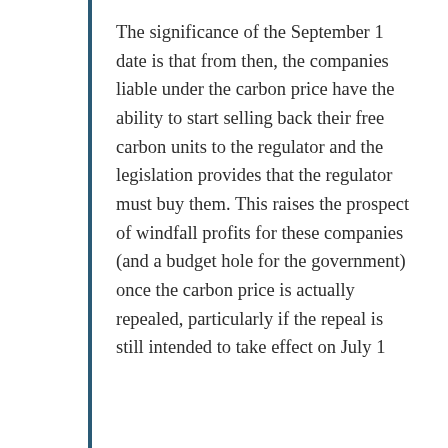The significance of the September 1 date is that from then, the companies liable under the carbon price have the ability to start selling back their free carbon units to the regulator and the legislation provides that the regulator must buy them. This raises the prospect of windfall profits for these companies (and a budget hole for the government) once the carbon price is actually repealed, particularly if the repeal is still intended to take effect on July 1